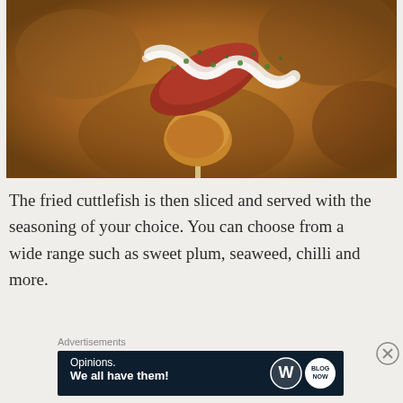[Figure (photo): Close-up photo of fried cuttlefish on a stick, topped with white sauce and green seasoning (seaweed), with a blurred warm background]
The fried cuttlefish is then sliced and served with the seasoning of your choice. You can choose from a wide range such as sweet plum, seaweed, chilli and more.
Advertisements
[Figure (infographic): WordPress advertisement banner with text 'Opinions. We all have them!' and WordPress logo and Blog Now logo on dark navy background]